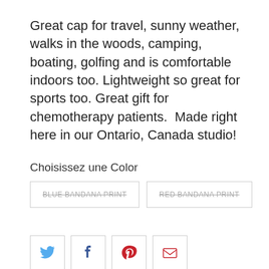Great cap for travel, sunny weather, walks in the woods, camping, boating, golfing and is comfortable indoors too. Lightweight so great for sports too. Great gift for chemotherapy patients.  Made right here in our Ontario, Canada studio!
Choisissez une Color
BLUE BANDANA PRINT (strikethrough)  RED BANDANA PRINT (strikethrough)
[Figure (infographic): Four social sharing icon buttons: Twitter (blue bird), Facebook (blue f), Pinterest (red P), Email (red envelope)]